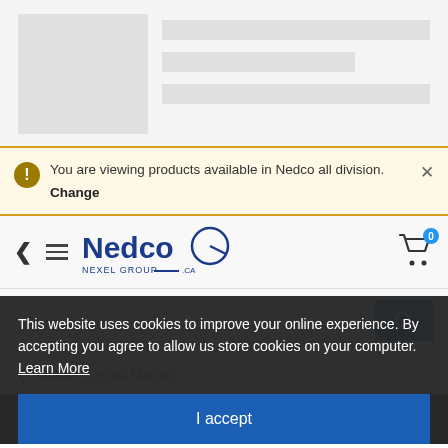[Figure (screenshot): Skeleton loader placeholder with grey box and three grey lines]
You are viewing products available in Nedco all division. Change
[Figure (logo): Nedco Nexel Group logo]
I'm looking for
< Motion Control Motors
SPER… A MOTION FOR 140N-35 XALTED INC B
This website uses cookies to improve your online experience. By accepting you agree to allow us store cookies on your computer. Learn More
I accept